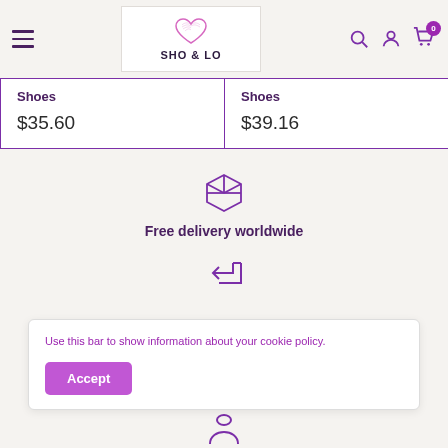SHO & LO - navigation header with hamburger menu, logo, search, account, and cart icons
| Category | Category |
| --- | --- |
| Shoes | Shoes |
| $35.60 | $39.16 |
[Figure (illustration): Package/box icon in purple outline]
Free delivery worldwide
[Figure (illustration): Return/exchange arrow icon in purple outline]
Use this bar to show information about your cookie policy.
Accept
[Figure (illustration): Person/account icon in purple outline at bottom]